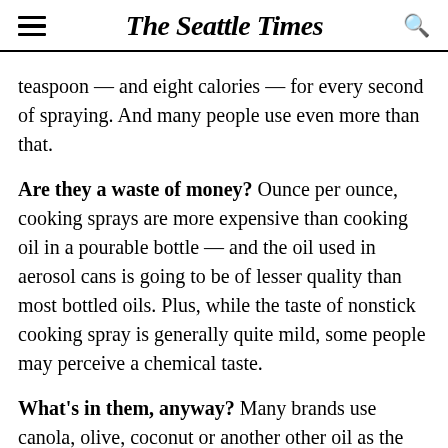The Seattle Times
teaspoon — and eight calories — for every second of spraying. And many people use even more than that.
Are they a waste of money? Ounce per ounce, cooking sprays are more expensive than cooking oil in a pourable bottle — and the oil used in aerosol cans is going to be of lesser quality than most bottled oils. Plus, while the taste of nonstick cooking spray is generally quite mild, some people may perceive a chemical taste.
What's in them, anyway? Many brands use canola, olive, coconut or another other oil as the primary ingredient, but some brands may use a mixture of oils and natural or artificial flavorings. "Butter-